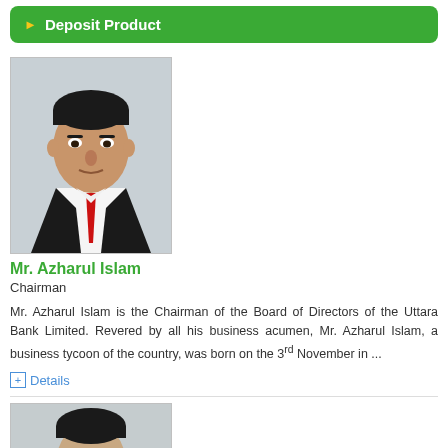Deposit Product
[Figure (photo): Portrait photo of Mr. Azharul Islam, a middle-aged man in a dark suit with a red tie, against a light background]
Mr. Azharul Islam
Chairman
Mr. Azharul Islam is the Chairman of the Board of Directors of the Uttara Bank Limited. Revered by all his business acumen, Mr. Azharul Islam, a business tycoon of the country, was born on the 3 November in ...
Details
[Figure (photo): Partial portrait photo of a second person, cropped at the bottom of the page]